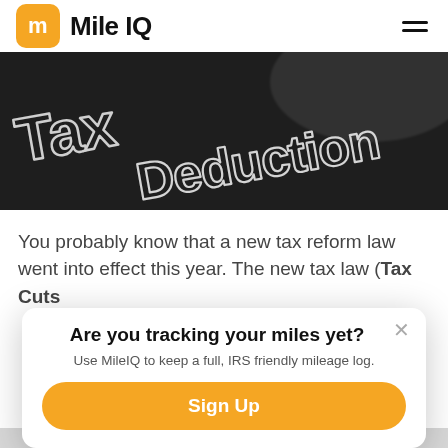MileIQ
[Figure (photo): Dark chalkboard texture with 'Tax Deduction' written in white chalk lettering]
You probably know that a new tax reform law went into effect this year. The new tax law (Tax Cuts and Jobs Act) made a number of
Are you tracking your miles yet?
Use MileIQ to keep a full, IRS friendly mileage log.
Sign Up